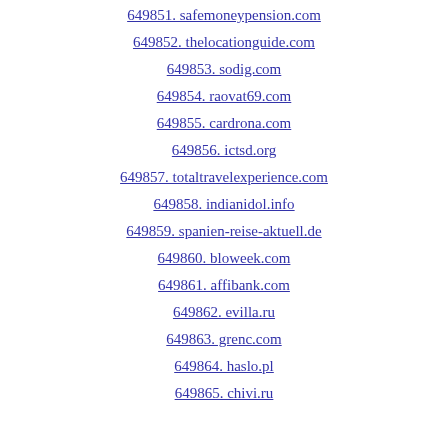649851. safemoneypension.com
649852. thelocationguide.com
649853. sodig.com
649854. raovat69.com
649855. cardrona.com
649856. ictsd.org
649857. totaltravelexperience.com
649858. indianidol.info
649859. spanien-reise-aktuell.de
649860. bloweek.com
649861. affibank.com
649862. evilla.ru
649863. grenc.com
649864. haslo.pl
649865. chivi.ru